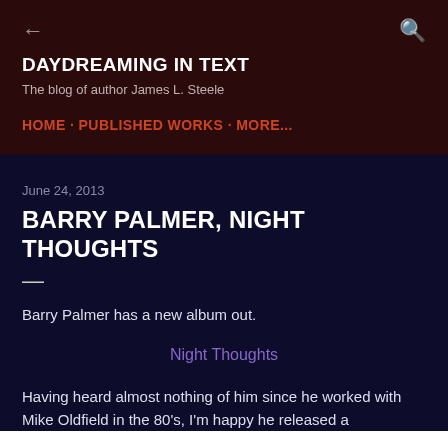← DAYDREAMING IN TEXT | The blog of author James L. Steele | HOME · PUBLISHED WORKS · MORE...
June 24, 2013
BARRY PALMER, NIGHT THOUGHTS
—
Barry Palmer has a new album out.
Night Thoughts
Having heard almost nothing of him since he worked with Mike Oldfield in the 80's, I'm happy he released a